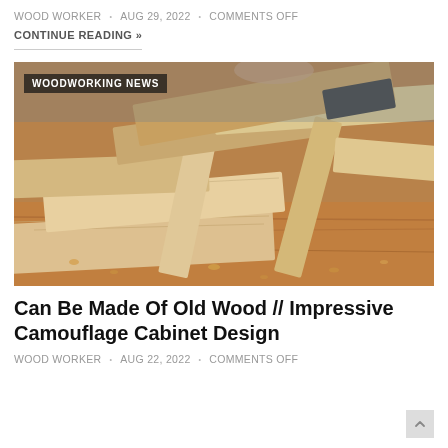WOOD WORKER • AUG 29, 2022 • COMMENTS OFF
CONTINUE READING »
[Figure (photo): A pile of rough-cut lumber and wood planks stacked on a workbench, with sawdust and wood chips scattered around, in a workshop setting. A 'WOODWORKING NEWS' label overlays the top-left corner.]
Can Be Made Of Old Wood // Impressive Camouflage Cabinet Design
WOOD WORKER • AUG 22, 2022 • COMMENTS OFF